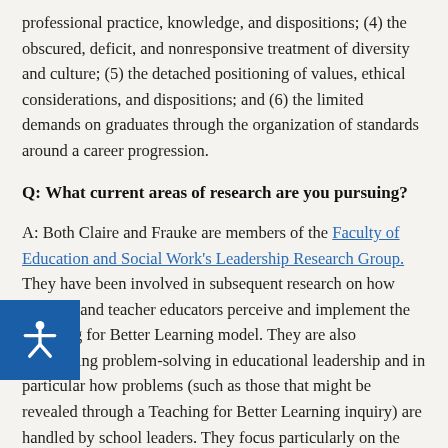professional practice, knowledge, and dispositions; (4) the obscured, deficit, and nonresponsive treatment of diversity and culture; (5) the detached positioning of values, ethical considerations, and dispositions; and (6) the limited demands on graduates through the organization of standards around a career progression.
Q: What current areas of research are you pursuing?
A: Both Claire and Frauke are members of the Faculty of Education and Social Work's Leadership Research Group. They have been involved in subsequent research on how teachers and teacher educators perceive and implement the Teaching for Better Learning model. They are also researching problem-solving in educational leadership and in particular how problems (such as those that might be revealed through a Teaching for Better Learning inquiry) are handled by school leaders. They focus particularly on the interpersonal capabilities required to address and